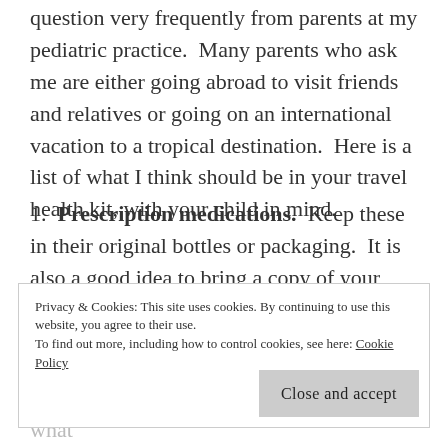question very frequently from parents at my pediatric practice.  Many parents who ask me are either going abroad to visit friends and relatives or going on an international vacation to a tropical destination.  Here is a list of what I think should be in your travel health kit, with your child in mind.
1.  Prescription medications.  Keep these in their original bottles or packaging.  It is also a good idea to bring a copy of your prescriptions.  Your pharmacist can print this out for you.  For certain countries, like Japan and UAE, certain medications, like stimulants
Privacy & Cookies: This site uses cookies. By continuing to use this website, you agree to their use. To find out more, including how to control cookies, see here: Cookie Policy
Close and accept
letter from your prescribing doctor stating what